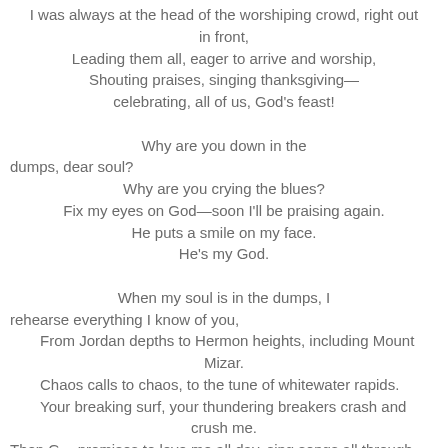I was always at the head of the worshiping crowd, right out in front,
Leading them all, eager to arrive and worship,
Shouting praises, singing thanksgiving—
celebrating, all of us, God's feast!

Why are you down in the dumps, dear soul?
Why are you crying the blues?
Fix my eyes on God—soon I'll be praising again.
He puts a smile on my face.
He's my God.

When my soul is in the dumps, I rehearse everything I know of you,
From Jordan depths to Hermon heights, including Mount Mizar.
Chaos calls to chaos, to the tune of whitewater rapids.
Your breaking surf, your thundering breakers crash and crush me.
Then God promises to love me all day, sing songs all through the night!